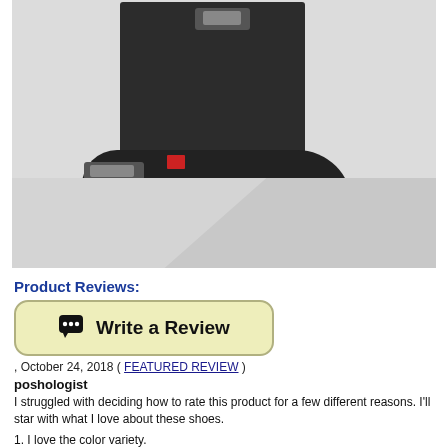[Figure (photo): Black Hunter ankle/short biker boot with buckle straps, matte finish, shown on white/grey background. Two image panels stacked vertically.]
Product Reviews:
[Figure (other): Write a Review button with speech bubble icon, olive/yellow-green background, rounded rectangle border]
, October 24, 2018 ( FEATURED REVIEW )
poshologist
I struggled with deciding how to rate this product for a few different reasons. I'll star with what I love about these shoes.
1. I love the color variety.